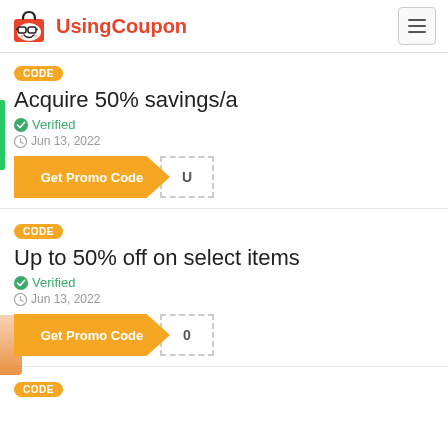UsingCoupon
CODE
Acquire 50% savings/a
Verified
Jun 13, 2022
Get Promo Code
CODE
Up to 50% off on select items
Verified
Jun 13, 2022
Get Promo Code
CODE